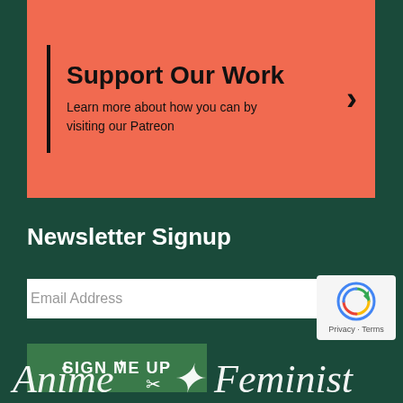Support Our Work
Learn more about how you can by visiting our Patreon
Newsletter Signup
Email Address
SIGN ME UP
[Figure (logo): Anime Feminist script logo in white on dark green background]
[Figure (other): reCAPTCHA badge with circular arrow icon and Privacy - Terms text]